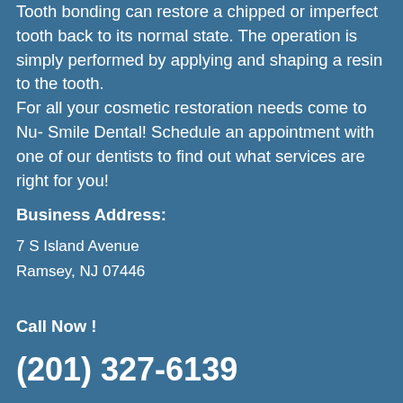Tooth bonding can restore a chipped or imperfect tooth back to its normal state. The operation is simply performed by applying and shaping a resin to the tooth. For all your cosmetic restoration needs come to Nu- Smile Dental! Schedule an appointment with one of our dentists to find out what services are right for you!
Business Address:
7 S Island Avenue
Ramsey, NJ 07446
Call Now !
(201) 327-6139